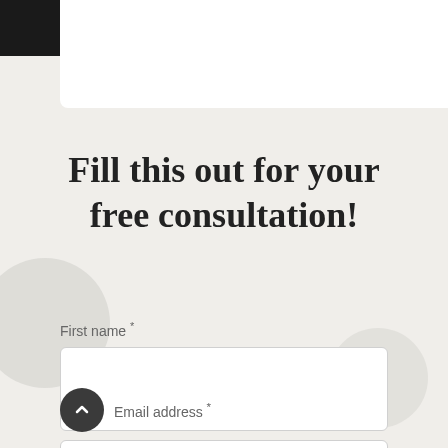Fill this out for your free consultation!
First name *
Email address *